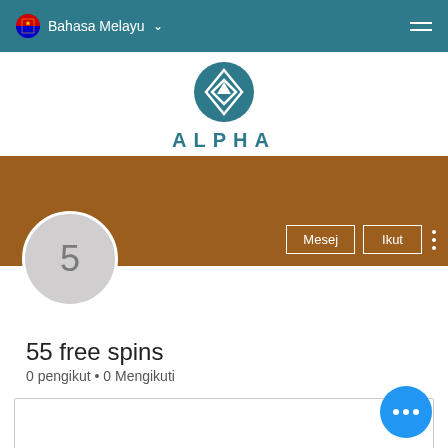Bahasa Melayu
[Figure (logo): Alpha brand logo: teal circle with geometric diamond/arrow icon, text ALPHA below in teal]
[Figure (screenshot): Brown cover banner with Mesej and Ikut buttons, profile avatar circle with number 5]
55 free spins
0 pengikut • 0 Mengikuti
Profil